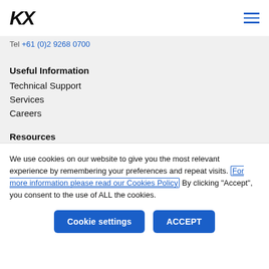KX
Tel: +61 (0)2 9268 0700
Useful Information
Technical Support
Services
Careers
Resources
We use cookies on our website to give you the most relevant experience by remembering your preferences and repeat visits. For more information please read our Cookies Policy By clicking "Accept", you consent to the use of ALL the cookies.
Cookie settings | ACCEPT